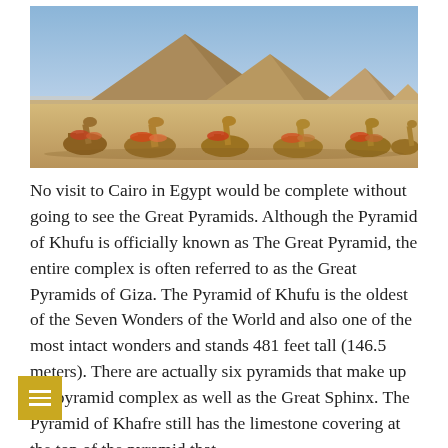[Figure (photo): Photograph of the Great Pyramids of Giza in Egypt with camels resting in the foreground on sandy desert ground, blue sky in background.]
No visit to Cairo in Egypt would be complete without going to see the Great Pyramids. Although the Pyramid of Khufu is officially known as The Great Pyramid, the entire complex is often referred to as the Great Pyramids of Giza. The Pyramid of Khufu is the oldest of the Seven Wonders of the World and also one of the most intact wonders and stands 481 feet tall (146.5 meters). There are actually six pyramids that make up the pyramid complex as well as the Great Sphinx. The Pyramid of Khafre still has the limestone covering at the top of the pyramid that